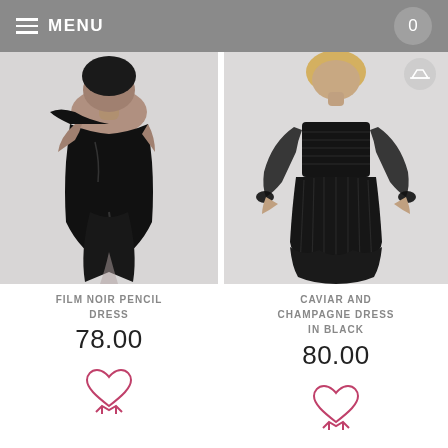MENU  0
[Figure (photo): Black velvet off-shoulder pencil dress with side slit, worn by a dark-skinned model against a light grey background]
FILM NOIR PENCIL DRESS
78.00
[Figure (photo): Black sheer long-sleeve pleated mini dress with ruffled hem, photographed from behind on a blonde model against a light grey background]
CAVIAR AND CHAMPAGNE DRESS IN BLACK
80.00